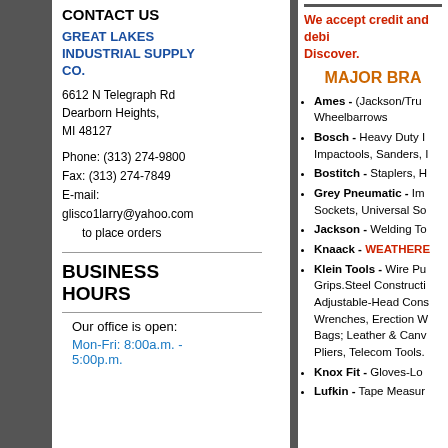CONTACT US
GREAT LAKES INDUSTRIAL SUPPLY CO.
6612 N Telegraph Rd
Dearborn Heights,
MI 48127
Phone: (313) 274-9800
Fax: (313) 274-7849
E-mail:
glisco1larry@yahoo.com
to place orders
BUSINESS HOURS
Our office is open:
Mon-Fri: 8:00a.m. - 5:00p.m.
We accept credit and debit cards: Visa, MC, AMEX, Discover.
MAJOR BRANDS
Ames - (Jackson/Trues Temper) Shovels, Wheelbarrows
Bosch - Heavy Duty Drills, Rotary Hammers, Impactools, Sanders, Recip Saws
Bostitch - Staplers, Hammers
Grey Pneumatic - Impact Drivers, Flex Sockets, Universal Sockets
Jackson - Welding Tools
Knaack - WEATHERGUARD
Klein Tools - Wire Pulling, Crimpers, Grips.Steel Construction, Adjustable-Head Construction Wrenches, Erection Wrenches, Tool Bags; Leather & Canvas; Lineman Pliers, Telecom Tools.
Knox Fit - Gloves-Leather
Lufkin - Tape Measures